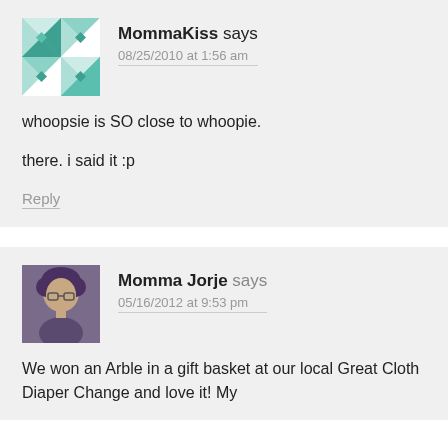[Figure (illustration): Avatar image: teal and white quilt-pattern geometric icon for MommaKiss]
MommaKiss says
08/25/2010 at 1:56 am
whoopsie is SO close to whoopie.

there. i said it :p
Reply
[Figure (photo): Avatar photo of Momma Jorje: a person with glasses and curly hair]
Momma Jorje says
05/16/2012 at 9:53 pm
We won an Arble in a gift basket at our local Great Cloth Diaper Change and love it! My